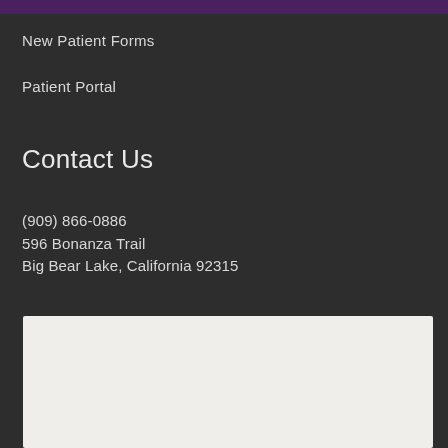New Patient Forms
Patient Portal
Contact Us
(909) 866-0886
596 Bonanza Trail
Big Bear Lake, California 92315
[Figure (map): Map placeholder area showing a light beige/cream colored map region]